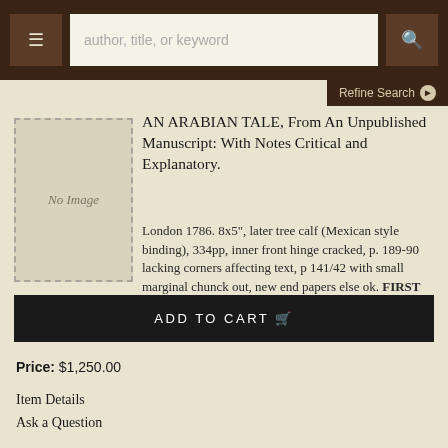[Figure (screenshot): Website navigation bar with menu button, search box placeholder text 'author, title, or keyword', and search icon button]
Refine Search ▶
[Figure (illustration): Book placeholder image with text 'No Image']
AN ARABIAN TALE, From An Unpublished Manuscript: With Notes Critical and Explanatory.
London 1786. 8x5", later tree calf (Mexican style binding), 334pp, inner front hinge cracked, p. 189-90 lacking corners affecting text, p 141/42 with small marginal chunck out, new end papers else ok. FIRST EDITION. (errata present). More ›
ADD TO CART
Price: $1,250.00
Item Details
Ask a Question